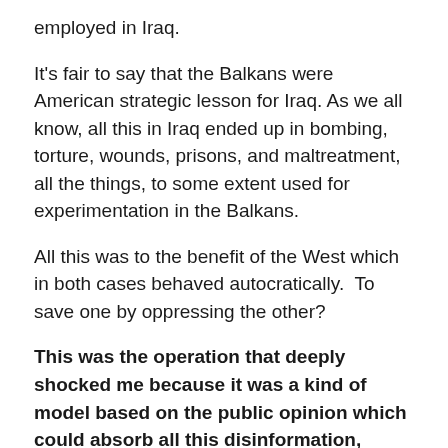employed in Iraq.
It's fair to say that the Balkans were American strategic lesson for Iraq. As we all know, all this in Iraq ended up in bombing, torture, wounds, prisons, and maltreatment, all the things, to some extent used for experimentation in the Balkans.
All this was to the benefit of the West which in both cases behaved autocratically.  To save one by oppressing the other?
This was the operation that deeply shocked me because it was a kind of model based on the public opinion which could absorb all this disinformation, which is really disturbing because it allows for all kinds of incidents in the future.